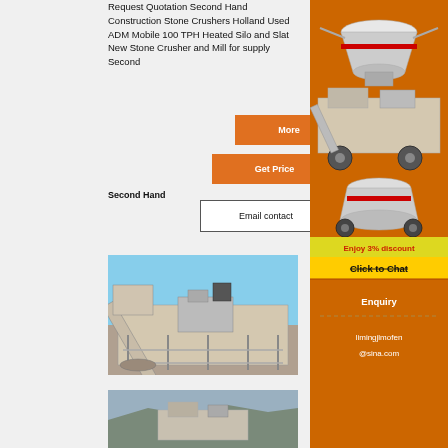Request Quotation Second Hand Construction Stone Crushers Holland Used ADM Mobile 100 TPH Heated Silo and Slat New Stone Crusher and Mill for supply Second
More
Get Price
Second Hand
Email contact
[Figure (photo): Large mobile stone crusher / screening machine on site, beige/grey colored industrial equipment]
[Figure (photo): Stone crusher machine in outdoor quarry/mine setting]
[Figure (illustration): Advertisement sidebar showing multiple mining/crushing machines (cone crusher, mobile crusher, mill) on orange background with 'Enjoy 3% discount' and 'Click to Chat' buttons, and Enquiry section with email limingjlmofen@sina.com]